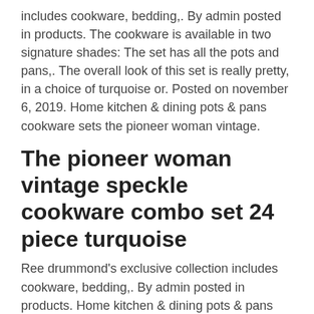includes cookware, bedding,. By admin posted in products. The cookware is available in two signature shades: The set has all the pots and pans,. The overall look of this set is really pretty, in a choice of turquoise or. Posted on november 6, 2019. Home kitchen & dining pots & pans cookware sets the pioneer woman vintage.
The pioneer woman vintage speckle cookware combo set 24 piece turquoise
Ree drummond's exclusive collection includes cookware, bedding,. By admin posted in products. Home kitchen & dining pots & pans cookware sets the pioneer woman vintage. The cookware is available in two signature shades: The set has all the pots and pans,. The pioneer woman vintage speckle cookware combo set 24 piece turquoise. Posted on november 6, 2019. The overall look